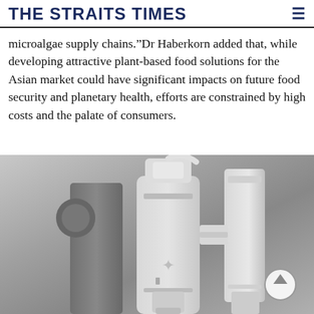THE STRAITS TIMES
microalgae supply chains.”Dr Haberkorn added that, while developing attractive plant-based food solutions for the Asian market could have significant impacts on future food security and planetary health, efforts are constrained by high costs and the palate of consumers.
[Figure (photo): Close-up photograph of a scientific or food technology machine, shown in greyscale, with cylindrical and mechanical components visible. A scroll-to-top button is overlaid in the bottom right corner.]